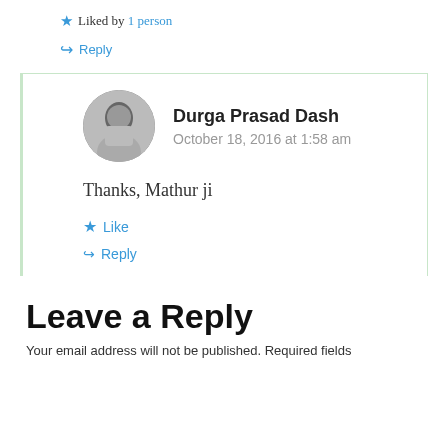★ Liked by 1 person
↪ Reply
Durga Prasad Dash
October 18, 2016 at 1:58 am
Thanks, Mathur ji
★ Like
↪ Reply
Leave a Reply
Your email address will not be published. Required fields